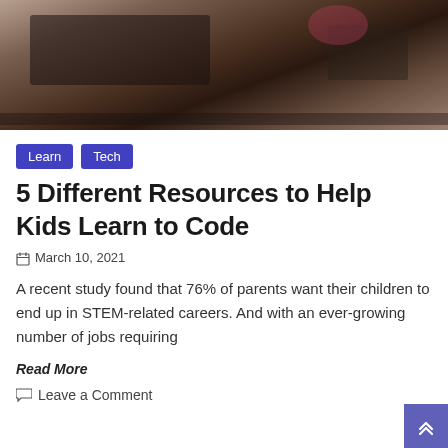[Figure (photo): Top-down/overhead photo of a child or student at a desk with tech devices, laptop, tablet visible, dark brown tones]
Learn  Tech
5 Different Resources to Help Kids Learn to Code
March 10, 2021
A recent study found that 76% of parents want their children to end up in STEM-related careers. And with an ever-growing number of jobs requiring
Read More
Leave a Comment